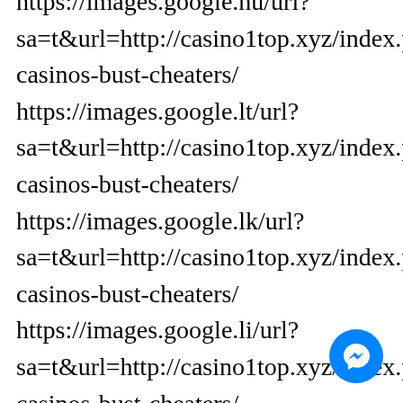https://images.google.hu/url?sa=t&url=http://casino1top.xyz/index.php/casinos-bust-cheaters/
https://images.google.lt/url?sa=t&url=http://casino1top.xyz/index.php/casinos-bust-cheaters/
https://images.google.lk/url?sa=t&url=http://casino1top.xyz/index.php/casinos-bust-cheaters/
https://images.google.li/url?sa=t&url=http://casino1top.xyz/index.php/casinos-bust-cheaters/
https://images.google.la/url?